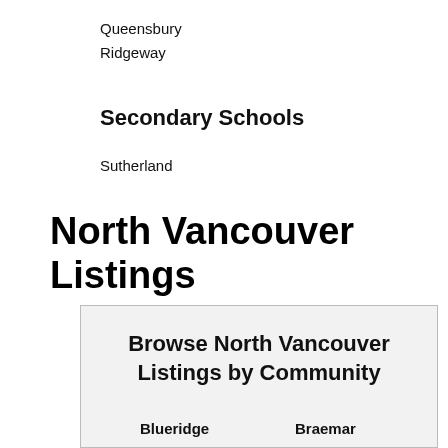Queensbury
Ridgeway
Secondary Schools
Sutherland
North Vancouver Listings
Browse North Vancouver Listings by Community
Blueridge
Braemar